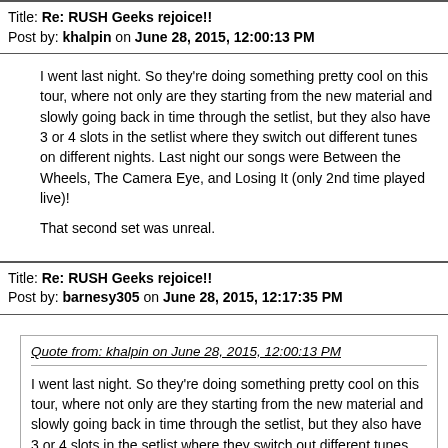Title: Re: RUSH Geeks rejoice!!
Post by: khalpin on June 28, 2015, 12:00:13 PM
I went last night.  So they're doing something pretty cool on this tour, where not only are they starting from the new material and slowly going back in time through the setlist, but they also have 3 or 4 slots in the setlist where they switch out different tunes on different nights.  Last night our songs were Between the Wheels, The Camera Eye, and Losing It (only 2nd time played live)!

That second set was unreal.
Title: Re: RUSH Geeks rejoice!!
Post by: barnesy305 on June 28, 2015, 12:17:35 PM
Quote from: khalpin on June 28, 2015, 12:00:13 PM

I went last night.  So they're doing something pretty cool on this tour, where not only are they starting from the new material and slowly going back in time through the setlist, but they also have 3 or 4 slots in the setlist where they switch out different tunes on different nights.  Last night our songs were Between the Wheels, The Camera Eye, and Losing It (only 2nd time played live)!

That second set was unreal.
Cool trivia, the violinist is Peter Dinklage's brother